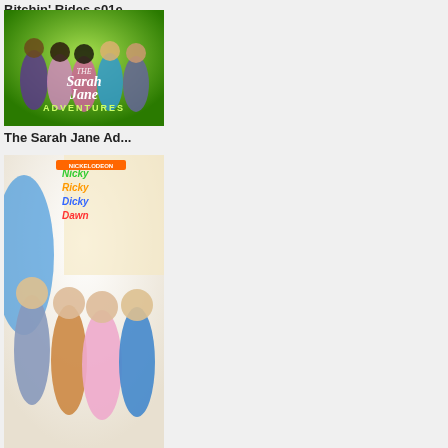Bitchin' Rides s01e...
[Figure (photo): The Sarah Jane Adventures TV show poster - group of young people on green background with show title text]
The Sarah Jane Ad...
[Figure (photo): Nicky, Ricky, Dicky & Dawn Nickelodeon show poster with four kids and colorful logo]